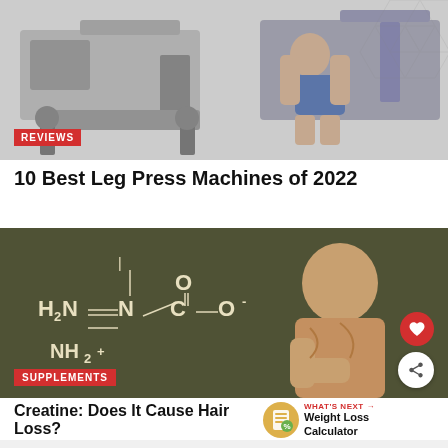[Figure (photo): Two leg press machines on a light gray background]
REVIEWS
10 Best Leg Press Machines of 2022
[Figure (photo): Muscular bald man thinking, with creatine chemical structure diagram on a dark olive background. Shows H2N-N(CH3)-CH2-COO- and NH2+ chemical formula.]
SUPPLEMENTS
Creatine: Does It Cause Hair Loss?
WHAT'S NEXT → Weight Loss Calculator